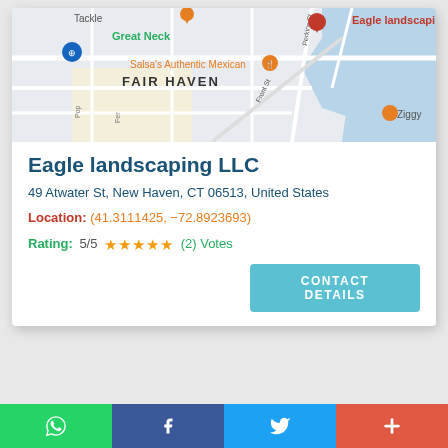[Figure (map): Google Maps screenshot showing Fair Haven area with Eagle landscaping LLC pin, Great Neck label, Salsa's Authentic Mexican pin, and Ziggy restaurant pin near waterfront.]
Eagle landscaping LLC
49 Atwater St, New Haven, CT 06513, United States
Location: (41.3111425, −72.8923693)
Rating: 5/5 ★★★★★ (2) Votes
CONTACT DETAILS
WhatsApp  Facebook  Twitter  +